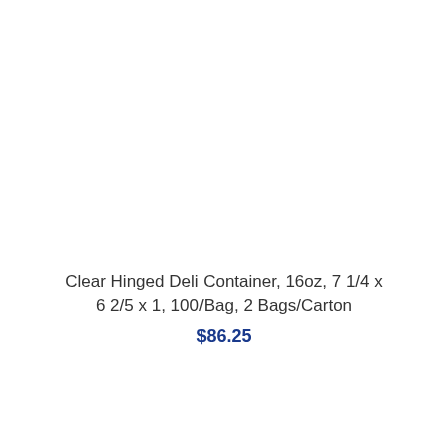Clear Hinged Deli Container, 16oz, 7 1/4 x 6 2/5 x 1, 100/Bag, 2 Bags/Carton
$86.25